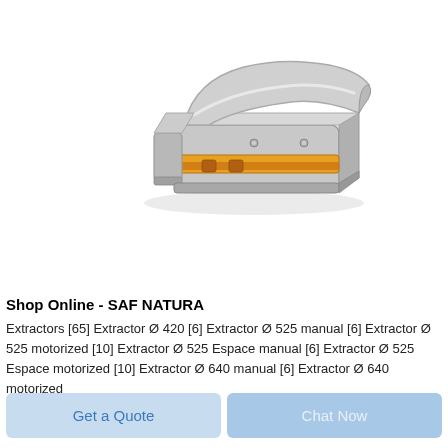[Figure (photo): A chrome/silver manual staple gun with an orange/yellow stripe detail along the side, shown in side profile view on a white background.]
Shop Online - SAF NATURA
Extractors [65] Extractor Ø 420 [6] Extractor Ø 525 manual [6] Extractor Ø 525 motorized [10] Extractor Ø 525 Espace manual [6] Extractor Ø 525 Espace motorized [10] Extractor Ø 640 manual [6] Extractor Ø 640 motorized
Get a Quote
Chat Now